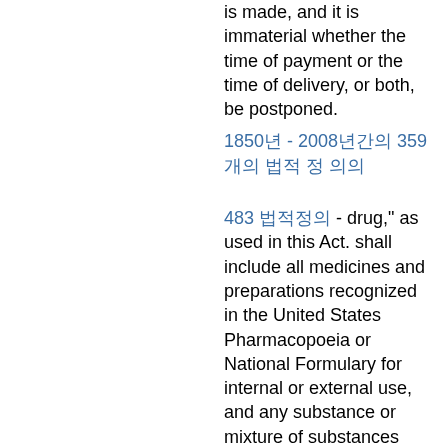is made, and it is immaterial whether the time of payment or the time of delivery, or both, be postponed.
1850년 - 2008년간의 359개의 법적 정 의의
483 법적정의 - drug," as used in this Act. shall include all medicines and preparations recognized in the United States Pharmacopoeia or National Formulary for internal or external use, and any substance or mixture of substances intended to be used for the cure, mitigation, or prevention of disease of either man or other animals. The term